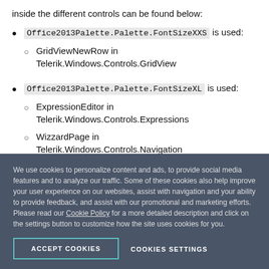inside the different controls can be found below:
Office2013Palette.Palette.FontSizeXXS is used:
GridViewNewRow in Telerik.Windows.Controls.GridView
Office2013Palette.Palette.FontSizeXL is used:
ExpressionEditor in Telerik.Windows.Controls.Expressions
WizzardPage in Telerik.Windows.Controls.Navigation
We use cookies to personalize content and ads, to provide social media features and to analyze our traffic. Some of these cookies also help improve your user experience on our websites, assist with navigation and your ability to provide feedback, and assist with our promotional and marketing efforts. Please read our Cookie Policy for a more detailed description and click on the settings button to customize how the site uses cookies for you.
ACCEPT COOKIES
COOKIES SETTINGS